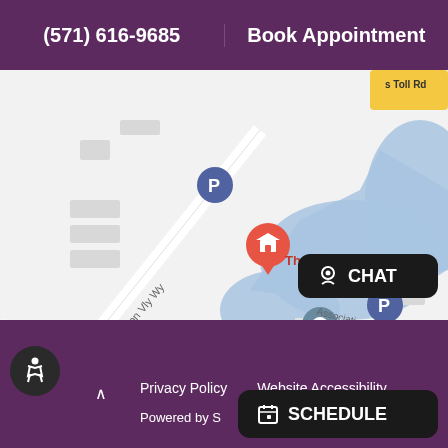(571) 616-9685
Book Appointment
[Figure (map): Google Maps view showing the location of The Gastroenterology Group near Reston Valley Way and Sunrise Valley Drive. Map shows a blue water body, parking markers (P), bus stop icons, Inmarsat Government building, and Association Dr.]
Privacy Policy
Website Accessibility
Powered by S
CHAT
SCHEDULE